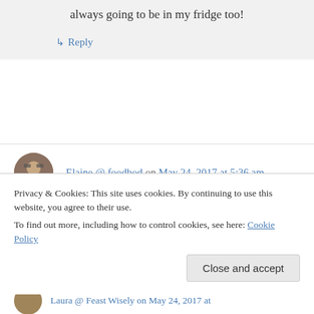always going to be in my fridge too!
↳ Reply
Elaine @ foodbod on May 24, 2017 at 5:36 am
I made a jar of this immediately after our Instagram discussion and we're still eating it 😊😊😊 I love it! I chopped my onions finer than yours but otherwise I did exactly as you said… and I'll be making more very soon!
Privacy & Cookies: This site uses cookies. By continuing to use this website, you agree to their use.
To find out more, including how to control cookies, see here: Cookie Policy
Close and accept
Laura @ Feast Wisely on May 24, 2017 at